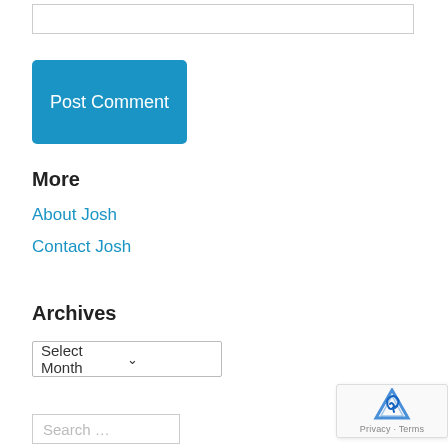[Figure (other): Text input box (empty)]
[Figure (other): Post Comment button (blue, rounded rectangle)]
More
About Josh
Contact Josh
Archives
[Figure (other): Select Month dropdown]
[Figure (other): Search input box with placeholder text 'Search ...']
[Figure (other): reCAPTCHA badge with Privacy and Terms links]